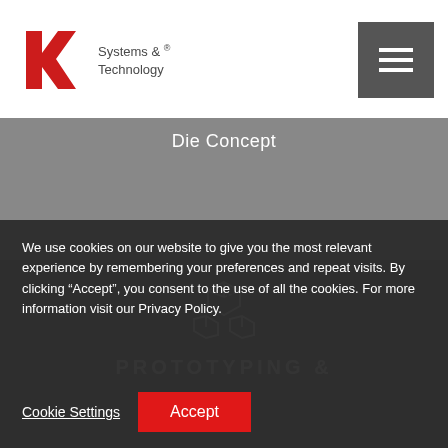[Figure (logo): KM Systems & Technology logo with red angular K and M mark and grey text 'Systems & Technology']
[Figure (other): Dark grey menu/hamburger button icon in top right corner]
Die Concept
[Figure (illustration): White 3D cube/blocks icon on dark grey background]
PROTOTYPING &
We use cookies on our website to give you the most relevant experience by remembering your preferences and repeat visits. By clicking “Accept”, you consent to the use of all the cookies. For more information visit our Privacy Policy.
Cookie Settings
Accept